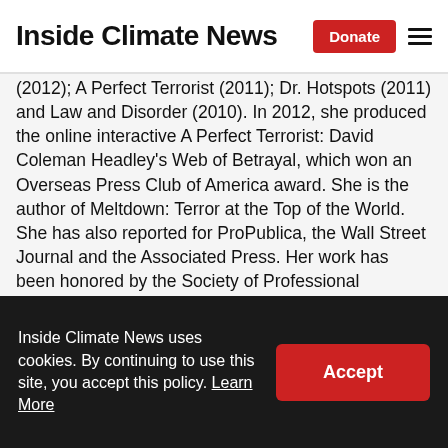Inside Climate News
(2012); A Perfect Terrorist (2011); Dr. Hotspots (2011) and Law and Disorder (2010). In 2012, she produced the online interactive A Perfect Terrorist: David Coleman Headley's Web of Betrayal, which won an Overseas Press Club of America award. She is the author of Meltdown: Terror at the Top of the World. She has also reported for ProPublica, the Wall Street Journal and the Associated Press. Her work has been honored by the Society of Professional Journalists and the Society of Environmental Journalists, and she was named a finalist for the Livingston Awards for Young Journalists in 2010 and again in 2015. Shankman
Inside Climate News uses cookies. By continuing to use this site, you accept this policy. Learn More